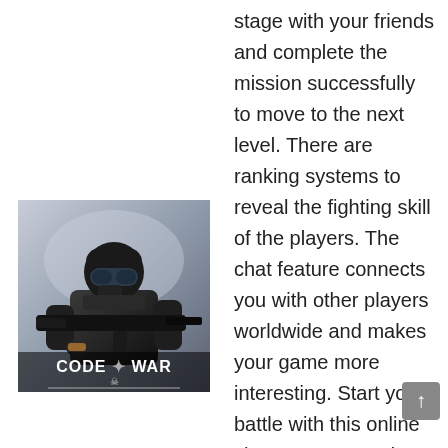[Figure (illustration): Code of War game logo image showing an armed tactical soldier in black gear holding an assault rifle, with 'CODE OF WAR' text and a skull icon at the bottom on a grey background.]
stage with your friends and complete the mission successfully to move to the next level. There are ranking systems to reveal the fighting skill of the players. The chat feature connects you with other players worldwide and makes your game more interesting. Start your battle with this online shooter game and enjoy